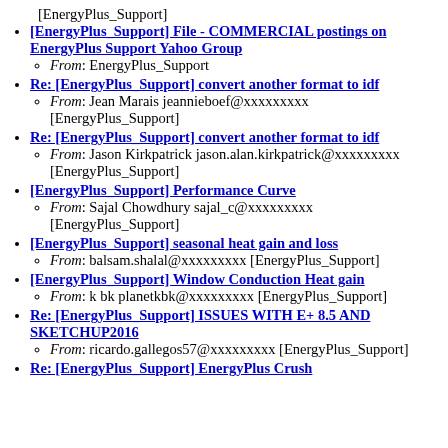[EnergyPlus_Support]
[EnergyPlus_Support] File - COMMERCIAL postings on EnergyPlus Support Yahoo Group
From: EnergyPlus_Support
Re: [EnergyPlus_Support] convert another format to idf
From: Jean Marais jeannieboef@xxxxxxxxx [EnergyPlus_Support]
Re: [EnergyPlus_Support] convert another format to idf
From: Jason Kirkpatrick jason.alan.kirkpatrick@xxxxxxxxx [EnergyPlus_Support]
[EnergyPlus_Support] Performance Curve
From: Sajal Chowdhury sajal_c@xxxxxxxxx [EnergyPlus_Support]
[EnergyPlus_Support] seasonal heat gain and loss
From: balsam.shalal@xxxxxxxxx [EnergyPlus_Support]
[EnergyPlus_Support] Window Conduction Heat gain
From: k bk planetkbk@xxxxxxxxx [EnergyPlus_Support]
Re: [EnergyPlus_Support] ISSUES WITH E+ 8.5 AND SKETCHUP2016
From: ricardo.gallegos57@xxxxxxxxx [EnergyPlus_Support]
Re: [EnergyPlus_Support] EnergyPlus Crush